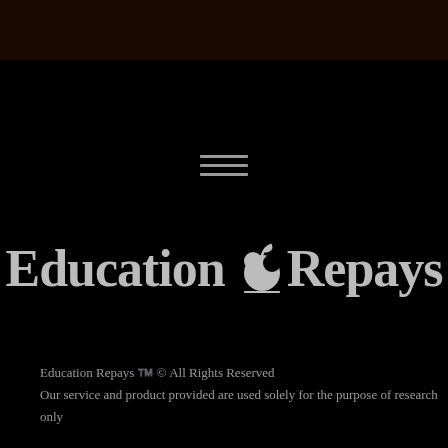[Figure (logo): Education Repays logo with apple icon on black background]
Education Repays ™ © All Rights Reserved
Our service and product provided are used solely for the purpose of research only